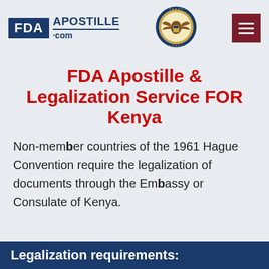[Figure (logo): FDA Apostille .com logo with blue box containing FDA text and Apostille title text]
[Figure (logo): Apostille gold and blue official seal/emblem with wings]
[Figure (other): Dark red hamburger menu icon button]
FDA Apostille & Legalization Service FOR Kenya
Non-member countries of the 1961 Hague Convention require the legalization of documents through the Embassy or Consulate of Kenya.
Legalization requirements: